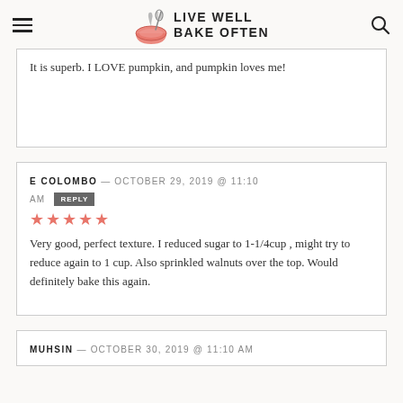LIVE WELL BAKE OFTEN
It is superb. I LOVE pumpkin, and pumpkin loves me!
E COLOMBO — OCTOBER 29, 2019 @ 11:10 AM  REPLY
★★★★★
Very good, perfect texture. I reduced sugar to 1-1/4cup , might try to reduce again to 1 cup. Also sprinkled walnuts over the top. Would definitely bake this again.
MUHSIN — OCTOBER 30, 2019 @ 11:10 AM